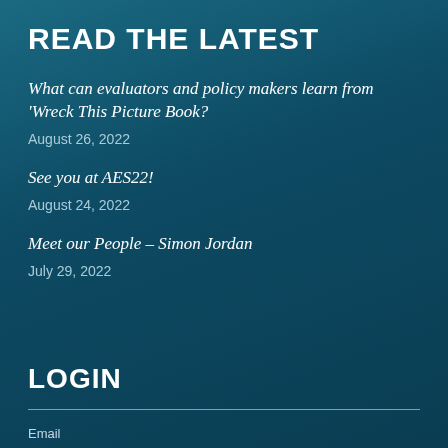READ THE LATEST
What can evaluators and policy makers learn from 'Wreck This Picture Book?
August 26, 2022
See you at AES22!
August 24, 2022
Meet our People – Simon Jordan
July 29, 2022
LOGIN
Email